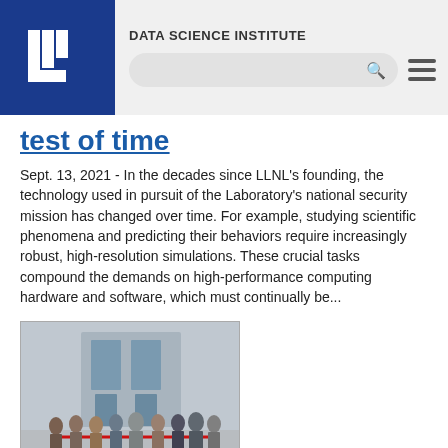DATA SCIENCE INSTITUTE
test of time
Sept. 13, 2021 - In the decades since LLNL's founding, the technology used in pursuit of the Laboratory's national security mission has changed over time. For example, studying scientific phenomena and predicting their behaviors require increasingly robust, high-resolution simulations. These crucial tasks compound the demands on high-performance computing hardware and software, which must continually be...
[Figure (photo): Group of people wearing masks standing in front of a building, cutting a red ribbon at a ribbon-cutting ceremony.]
LLNL, NNSA and elected officials